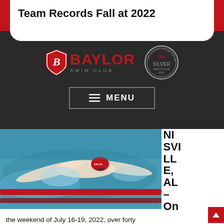Team Records Fall at 2022
[Figure (logo): Baylor Swim Club logo with shield emblem and USA Swimming Silver Medal Club badge]
≡ MENU
[Figure (photo): Swimmer performing butterfly stroke in pool, wearing red Baylor cap, with red lane ropes visible]
NI SVILLE, AL – On the weekend of July 16-19, 2022, over forty Baylor Swim Club athletes competed at the Southeastern Swimming Long Course Championships. Over 800 athletes from the